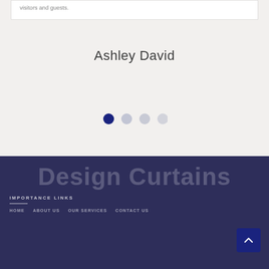visitors and guests.
Ashley David
[Figure (other): Carousel navigation dots: four circles, first one dark navy (active), second through fourth progressively lighter grey]
Design Curtains
IMPORTANCE LINKS
Home   About Us   Our Services   Contact Us